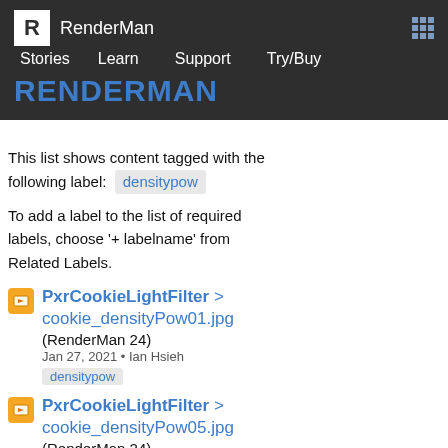RenderMan Stories Learn Support Try/Buy RENDERMAN
This list shows content tagged with the following label: densitypow
To add a label to the list of required labels, choose '+ labelname' from Related Labels.
PxrCookieLightFilter > cookie_densityPow01.jpg (RenderMan 24) Jan 27, 2021 • Ian Hsieh densitypow
PxrCookieLightFilter > cookie_densityPow05.jpg (RenderMan 24) Jan 27, 2021 • Ian Hsieh